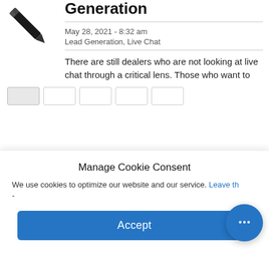[Figure (illustration): A black pen or stylus angled diagonally, cropped at top left of the article card.]
Generation
May 28, 2021 - 8:32 am
Lead Generation, Live Chat
There are still dealers who are not looking at live chat through a critical lens. Those who want to
Manage Cookie Consent
We use cookies to optimize our website and our service. Leave th
-
Accept